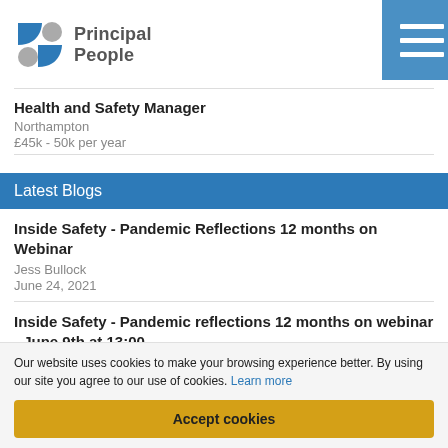Principal People
Health and Safety Manager
Northampton
£45k - 50k per year
Latest Blogs
Inside Safety - Pandemic Reflections 12 months on Webinar
Jess Bullock
June 24, 2021
Inside Safety - Pandemic reflections 12 months on webinar - June 9th at 13:00
Jess Bullock
May 20, 2021
Our website uses cookies to make your browsing experience better. By using our site you agree to our use of cookies. Learn more
Accept cookies